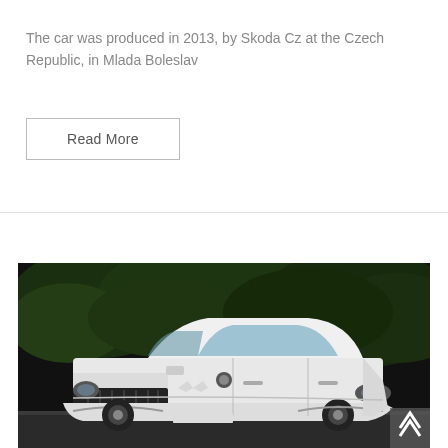The car was produced in 2013, by Skoda Cz at the Czech Republic, in Mlada Boleslav
Read More
[Figure (photo): Front three-quarter view of a white Skoda sedan (2013) photographed outdoors with dark green foliage in the background]